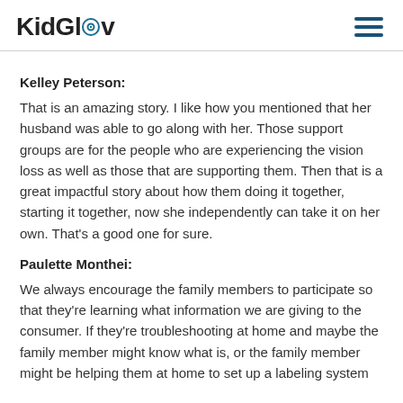KidGlov
Kelley Peterson:
That is an amazing story. I like how you mentioned that her husband was able to go along with her. Those support groups are for the people who are experiencing the vision loss as well as those that are supporting them. Then that is a great impactful story about how them doing it together, starting it together, now she independently can take it on her own. That's a good one for sure.
Paulette Monthei:
We always encourage the family members to participate so that they're learning what information we are giving to the consumer. If they're troubleshooting at home and maybe the family member might know what is, or the family member might be helping them at home to set up a labeling system